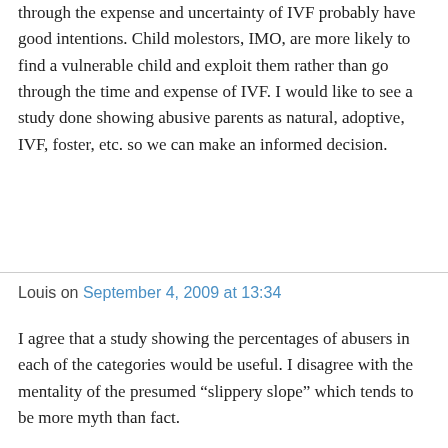through the expense and uncertainty of IVF probably have good intentions. Child molestors, IMO, are more likely to find a vulnerable child and exploit them rather than go through the time and expense of IVF. I would like to see a study done showing abusive parents as natural, adoptive, IVF, foster, etc. so we can make an informed decision.
Louis on September 4, 2009 at 13:34
I agree that a study showing the percentages of abusers in each of the categories would be useful. I disagree with the mentality of the presumed “slippery slope” which tends to be more myth than fact.